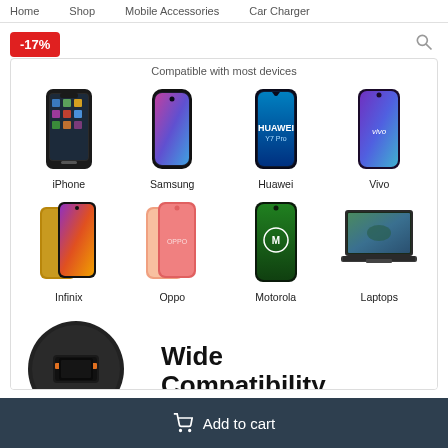Home   Shop   Mobile Accessories   Car Charger
-17%
Compatible with most devices
[Figure (infographic): Device compatibility grid showing 8 devices: iPhone, Samsung, Huawei, Vivo (top row) and Infinix, Oppo, Motorola, Laptops (bottom row), each with a photo of the device and its label underneath.]
[Figure (photo): Car charger (black, circular, with USB port) on left side with text 'Wide Compatibility' in bold black on right side.]
Add to cart